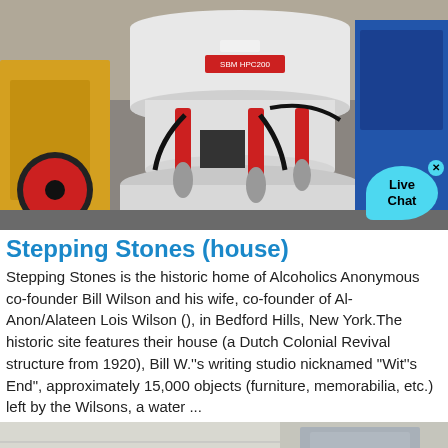[Figure (photo): Industrial machine — a large cone crusher or similar heavy industrial equipment, white and red coloring, with yellow machine parts visible on the left and blue equipment on the right, inside a factory/warehouse setting. A 'Live Chat' bubble overlay appears in the bottom-right corner.]
Stepping Stones (house)
Stepping Stones is the historic home of Alcoholics Anonymous co-founder Bill Wilson and his wife, co-founder of Al-Anon/Alateen Lois Wilson (), in Bedford Hills, New York.The historic site features their house (a Dutch Colonial Revival structure from 1920), Bill W.''s writing studio nicknamed "Wit''s End", approximately 15,000 objects (furniture, memorabilia, etc.) left by the Wilsons, a water ...
[Figure (photo): Partial view of another image at the bottom of the page, showing what appears to be a light-colored surface and equipment, partially cut off.]